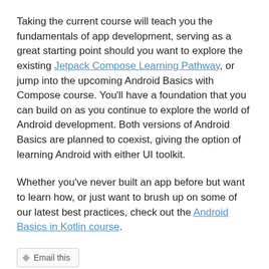Taking the current course will teach you the fundamentals of app development, serving as a great starting point should you want to explore the existing Jetpack Compose Learning Pathway, or jump into the upcoming Android Basics with Compose course. You'll have a foundation that you can build on as you continue to explore the world of Android development. Both versions of Android Basics are planned to coexist, giving the option of learning Android with either UI toolkit.
Whether you've never built an app before but want to learn how, or just want to brush up on some of our latest best practices, check out the Android Basics in Kotlin course.
Email this
Source: Android Developers Blog